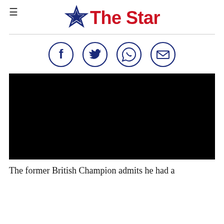The Star
[Figure (other): Social sharing icons: Facebook, Twitter, WhatsApp, Email]
[Figure (photo): Black/dark image placeholder for a video or photograph]
The former British Champion admits he had a